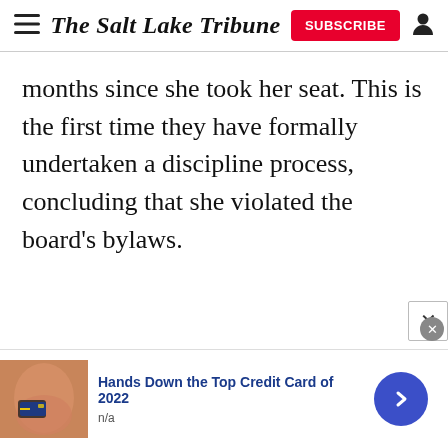The Salt Lake Tribune
months since she took her seat. This is the first time they have formally undertaken a discipline process, concluding that she violated the board's bylaws.
[Figure (logo): Small teal/green Fern logo icon]
[Figure (infographic): Advertisement banner: photo of woman with credit card, text 'Hands Down the Top Credit Card of 2022', subtext 'n/a', with close X button, close circle button, and blue arrow button]